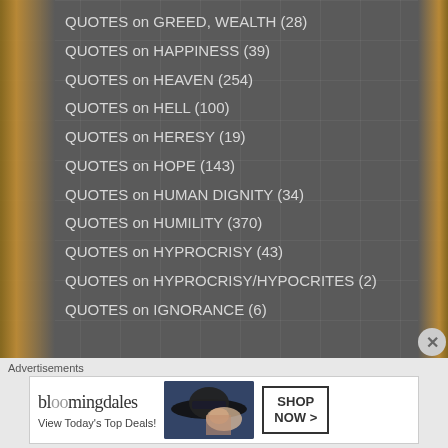QUOTES on GREED, WEALTH (28)
QUOTES on HAPPINESS (39)
QUOTES on HEAVEN (254)
QUOTES on HELL (100)
QUOTES on HERESY (19)
QUOTES on HOPE (143)
QUOTES on HUMAN DIGNITY (34)
QUOTES on HUMILITY (370)
QUOTES on HYPROCRISY (43)
QUOTES on HYPROCRISY/HYPOCRITES (2)
QUOTES on IGNORANCE (6)
Advertisements
[Figure (illustration): Bloomingdale's advertisement banner with text 'View Today's Top Deals!' and 'SHOP NOW >' button, featuring a woman in a wide-brimmed hat]